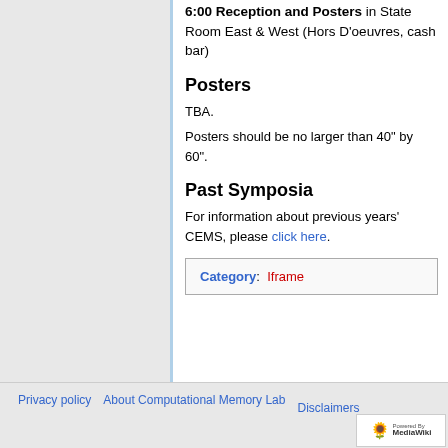6:00 Reception and Posters in State Room East & West (Hors D'oeuvres, cash bar)
Posters
TBA.
Posters should be no larger than 40" by 60".
Past Symposia
For information about previous years' CEMS, please click here.
Category:  Iframe
Privacy policy  About Computational Memory Lab  Disclaimers